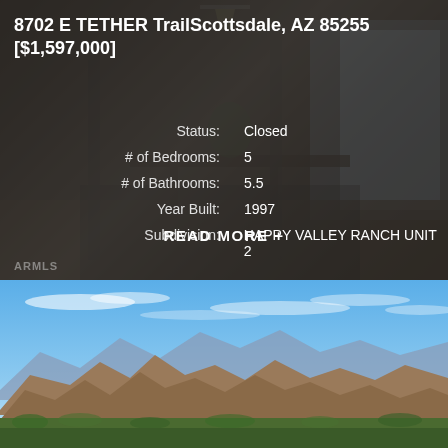8702 E TETHER TrailScottsdale, AZ 85255
[$1,597,000]
| Field | Value |
| --- | --- |
| Status: | Closed |
| # of Bedrooms: | 5 |
| # of Bathrooms: | 5.5 |
| Year Built: | 1997 |
| Subdivision: | HAPPY VALLEY RANCH UNIT 2 |
READ MORE +
[Figure (photo): Aerial mountain landscape view with blue sky, mountains, and desert city in foreground (Scottsdale/Phoenix area)]